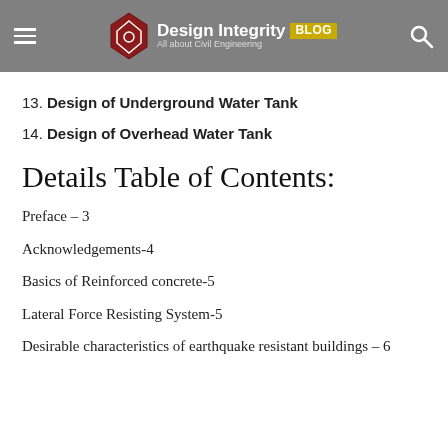Design Integrity BLOG — All about Civil Engineering
13. Design of Underground Water Tank
14. Design of Overhead Water Tank
Details Table of Contents:
Preface – 3
Acknowledgements-4
Basics of Reinforced concrete-5
Lateral Force Resisting System-5
Desirable characteristics of earthquake resistant buildings – 6